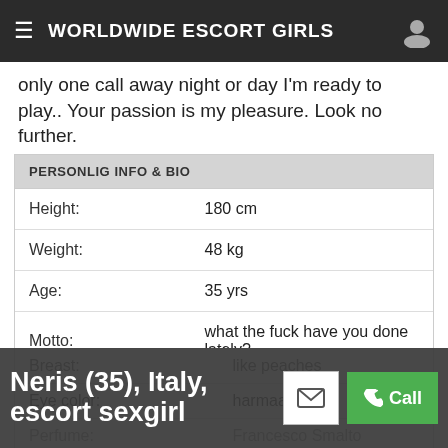WORLDWIDE ESCORT GIRLS
only one call away night or day I'm ready to play.. Your passion is my pleasure. Look no further.
|  |  |
| --- | --- |
| Height: | 180 cm |
| Weight: | 48 kg |
| Age: | 35 yrs |
| Motto: | what the fuck have you done lately? |
| Nationality: | Czech |
| Preferences: | I'm searching sexual partners |
| Breast: | like peaches |
| Eye color: | harmaa |
| Perfume: | Francesco Smalto |
Neris (35), Italy, escort sexgirl